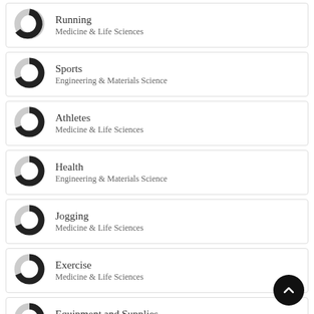Running — Medicine & Life Sciences
Sports — Engineering & Materials Science
Athletes — Medicine & Life Sciences
Health — Engineering & Materials Science
Jogging — Medicine & Life Sciences
Exercise — Medicine & Life Sciences
Equipment and Supplies — Medicine & Life Sciences